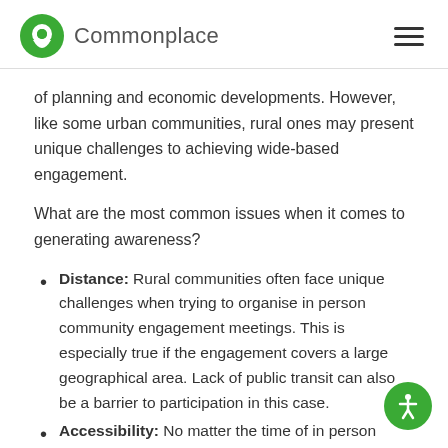Commonplace
of planning and economic developments. However, like some urban communities, rural ones may present unique challenges to achieving wide-based engagement.
What are the most common issues when it comes to generating awareness?
Distance: Rural communities often face unique challenges when trying to organise in person community engagement meetings. This is especially true if the engagement covers a large geographical area. Lack of public transit can also be a barrier to participation in this case.
Accessibility: No matter the time of in person...